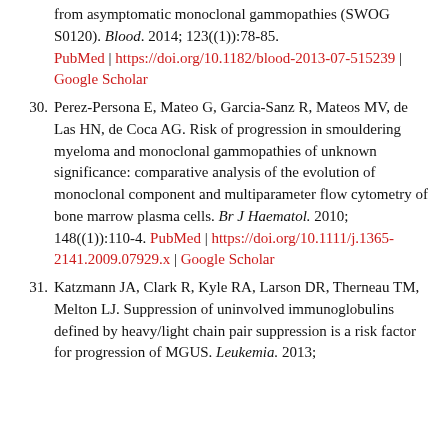from asymptomatic monoclonal gammopathies (SWOG S0120). Blood. 2014; 123((1)):78-85. PubMed | https://doi.org/10.1182/blood-2013-07-515239 | Google Scholar
30. Perez-Persona E, Mateo G, Garcia-Sanz R, Mateos MV, de Las HN, de Coca AG. Risk of progression in smouldering myeloma and monoclonal gammopathies of unknown significance: comparative analysis of the evolution of monoclonal component and multiparameter flow cytometry of bone marrow plasma cells. Br J Haematol. 2010; 148((1)):110-4. PubMed | https://doi.org/10.1111/j.1365-2141.2009.07929.x | Google Scholar
31. Katzmann JA, Clark R, Kyle RA, Larson DR, Therneau TM, Melton LJ. Suppression of uninvolved immunoglobulins defined by heavy/light chain pair suppression is a risk factor for progression of MGUS. Leukemia. 2013;